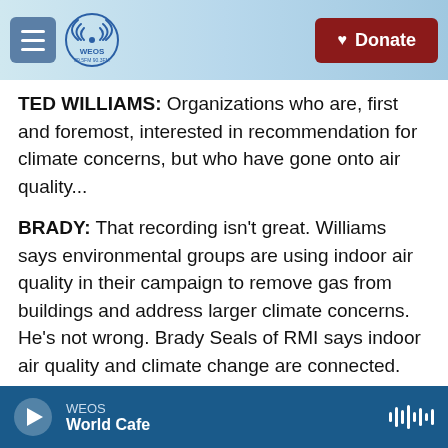WEOS 89.5FM 90.3FM Geneva — Donate
TED WILLIAMS: Organizations who are, first and foremost, interested in recommendation for climate concerns, but who have gone onto air quality...
BRADY: That recording isn't great. Williams says environmental groups are using indoor air quality in their campaign to remove gas from buildings and address larger climate concerns. He's not wrong. Brady Seals of RMI says indoor air quality and climate change are connected.
SEALS: Methane, which is what natural gas is
WEOS — World Cafe